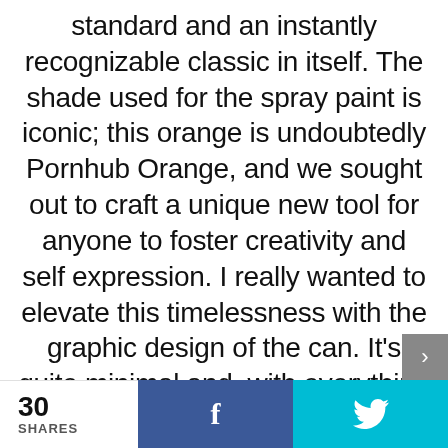standard and an instantly recognizable classic in itself. The shade used for the spray paint is iconic; this orange is undoubtedly Pornhub Orange, and we sought out to craft a unique new tool for anyone to foster creativity and self expression. I really wanted to elevate this timelessness with the graphic design of the can. It's quite minimal and, with everything being so flashy these days, I think the design will
30 SHARES  f  🐦